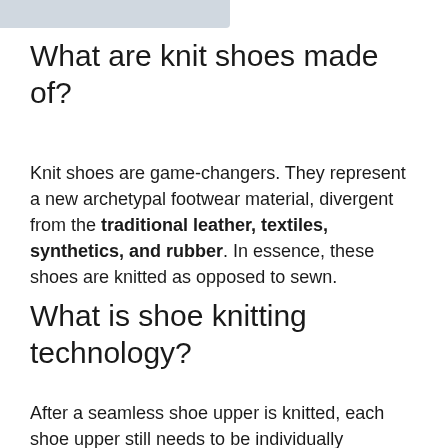What are knit shoes made of?
Knit shoes are game-changers. They represent a new archetypal footwear material, divergent from the traditional leather, textiles, synthetics, and rubber. In essence, these shoes are knitted as opposed to sewn.
What is shoe knitting technology?
After a seamless shoe upper is knitted, each shoe upper still needs to be individually